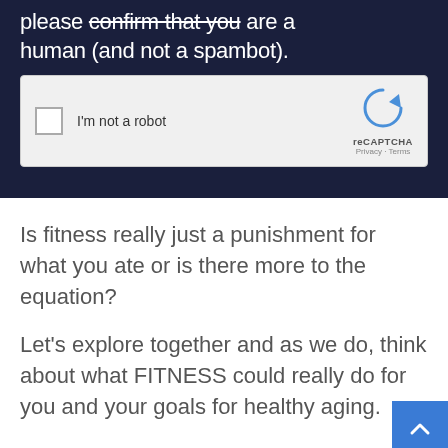please confirm that you are a human (and not a spambot).
[Figure (screenshot): reCAPTCHA widget with checkbox labeled 'I'm not a robot' on a light gray background, with reCAPTCHA logo and Privacy/Terms links]
Is fitness really just a punishment for what you ate or is there more to the equation?
Let's explore together and as we do, think about what FITNESS could really do for you and your goals for healthy aging.